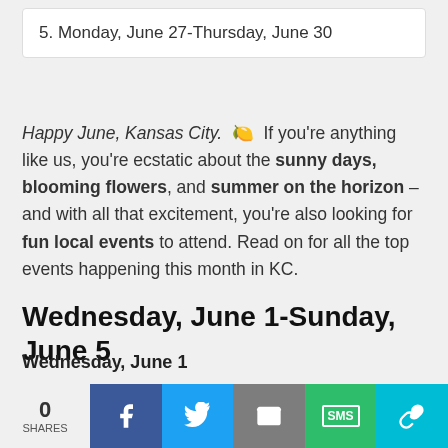5. Monday, June 27-Thursday, June 30
Happy June, Kansas City. 🌻 If you're anything like us, you're ecstatic about the sunny days, blooming flowers, and summer on the horizon – and with all that excitement, you're also looking for fun local events to attend. Read on for all the top events happening this month in KC.
Wednesday, June 1-Sunday, June 5
Wednesday, June 1
Group Run Celebration | Wed., June 1 | 6 p.m. | 6009 Johnson Dr., Mission, KS | Join The Running Well Store
0 SHARES | Facebook | Twitter | Email | SMS | Link